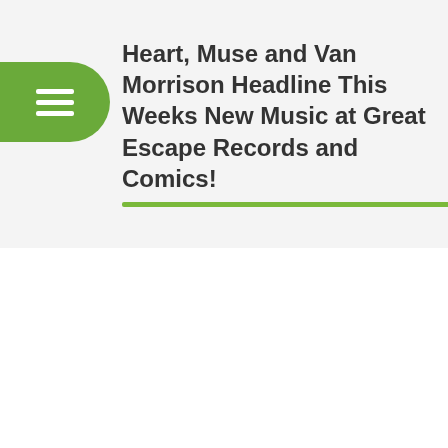Heart, Muse and Van Morrison Headline This Weeks New Music at Great Escape Records and Comics!